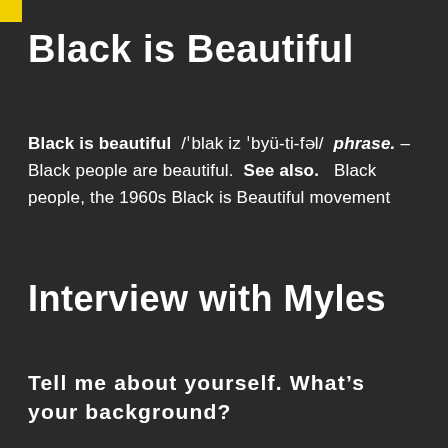Black is Beautiful
Black is beautiful  /ˈblak iz ˈbyü-ti-fəl/  phrase. – Black people are beautiful.  See also.   Black people, the 1960s Black is Beautiful movement
Interview with Myles
Tell me about yourself. What’s your background?